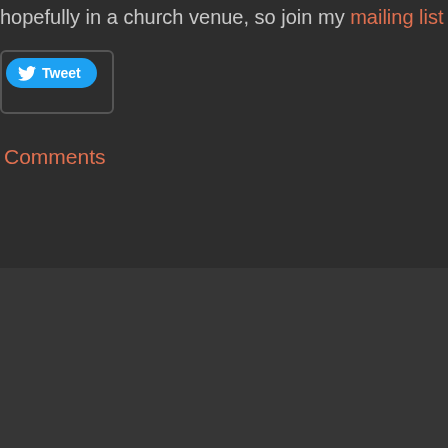hopefully in a church venue, so join my mailing list
[Figure (screenshot): Twitter Tweet button with bird icon]
Comments